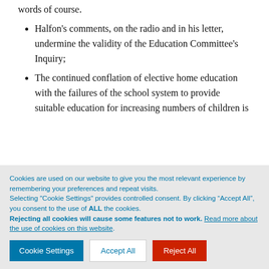words of course.
Halfon's comments, on the radio and in his letter, undermine the validity of the Education Committee's Inquiry;
The continued conflation of elective home education with the failures of the school system to provide suitable education for increasing numbers of children is
Cookies are used on our website to give you the most relevant experience by remembering your preferences and repeat visits.
Selecting "Cookie Settings" provides controlled consent. By clicking “Accept All”, you consent to the use of ALL the cookies.
Rejecting all cookies will cause some features not to work. Read more about the use of cookies on this website.